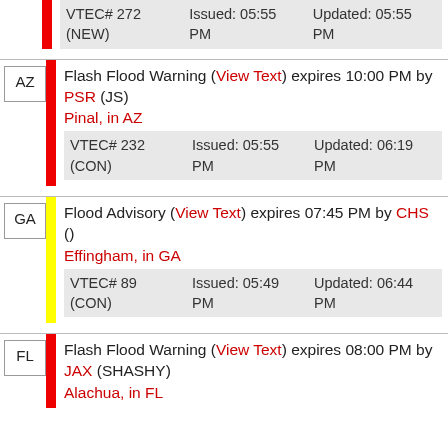| VTEC# 272 (NEW) | Issued: 05:55 PM | Updated: 05:55 PM |
AZ | Flash Flood Warning (View Text) expires 10:00 PM by PSR (JS)
Pinal, in AZ
VTEC# 232 (CON) | Issued: 05:55 PM | Updated: 06:19 PM
GA | Flood Advisory (View Text) expires 07:45 PM by CHS ()
Effingham, in GA
VTEC# 89 (CON) | Issued: 05:49 PM | Updated: 06:44 PM
FL | Flash Flood Warning (View Text) expires 08:00 PM by JAX (SHASHY)
Alachua, in FL